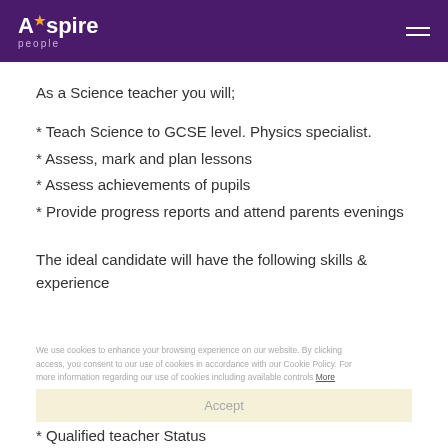Aspire people
As a Science teacher you will;
* Teach Science to GCSE level. Physics specialist.
* Assess, mark and plan lessons
* Assess achievements of pupils
* Provide progress reports and attend parents evenings
The ideal candidate will have the following skills & experience
* Qualified teacher Status